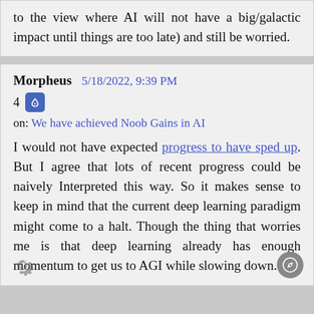to the view where AI will not have a big/galactic impact until things are too late) and still be worried.
Morpheus 5/18/2022, 9:39 PM
4
on: We have achieved Noob Gains in AI

I would not have expected progress to have sped up. But I agree that lots of recent progress could be naively Interpreted this way. So it makes sense to keep in mind that the current deep learning paradigm might come to a halt. Though the thing that worries me is that deep learning already has enough momentum to get us to AGI while slowing down.